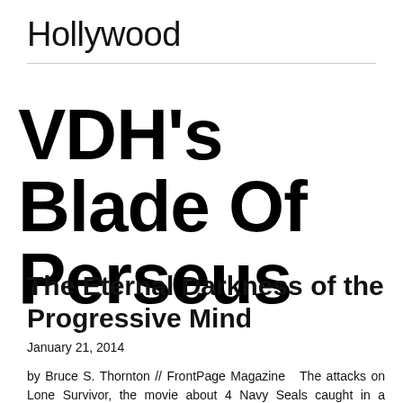Hollywood
VDH's Blade Of Perseus
The Eternal Darkness of the Progressive Mind
January 21, 2014
by Bruce S. Thornton // FrontPage Magazine   The attacks on Lone Survivor, the movie about 4 Navy Seals caught in a compromising combat challenge in Afghanistan, illustrates